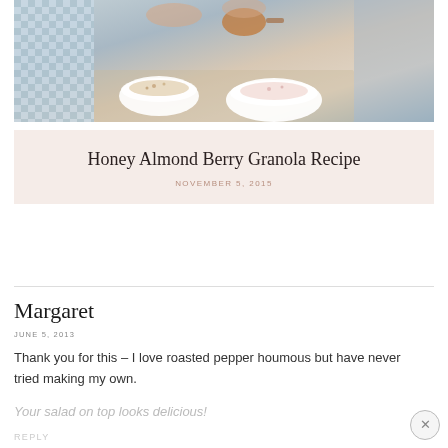[Figure (photo): Photo of hands pouring granola or toppings from a copper pan into white bowls on a textured surface, with blue checked fabric apron visible]
Honey Almond Berry Granola Recipe
NOVEMBER 5, 2015
Margaret
JUNE 5, 2013
Thank you for this – I love roasted pepper houmous but have never tried making my own.
Your salad on top looks delicious!
REPLY